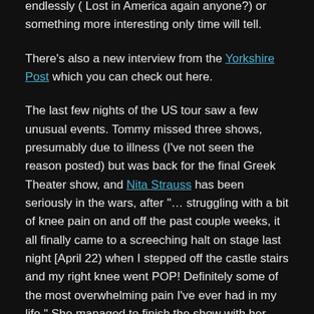endlessly ( Lost in America again anyone?) or something more interesting only time will tell.
There's also a new interview from the Yorkshire Post which you can check out here.
The last few nights of the US tour saw a few unusual events. Tommy missed three shows, presumably due to illness (I've not seen the reason posted) but was back for the final Greek Theater show, and Nita Strauss has been seriously in the wars, after "… struggling with a bit of knee pain on and off the past couple weeks, it all finally came to a screeching halt on stage last night [April 22) when I stepped off the castle stairs and my right knee went POP! Definitely some of the most overwhelming pain I've ever had in my life." She managed to finish the show with her